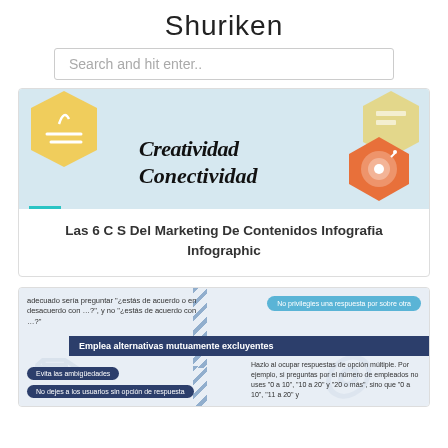Shuriken
Search and hit enter..
[Figure (infographic): Infographic banner showing hexagonal icons and script text reading 'Creatividad' and 'Conectividad' with an orange target hexagon, on a light blue background]
Las 6 C S Del Marketing De Contenidos Infografia Infographic
[Figure (infographic): Infographic snippet about survey/questionnaire best practices. Left side has Spanish text about balanced response options. Right pill says 'No privilegies una respuesta por sobre otra'. Blue banner says 'Emplea alternativas mutuamente excluyentes'. Bottom pills: 'Evita las ambigüedades', 'No dejes a los usuarios sin opción de respuesta'. Right text describes how to use mutually exclusive options.]